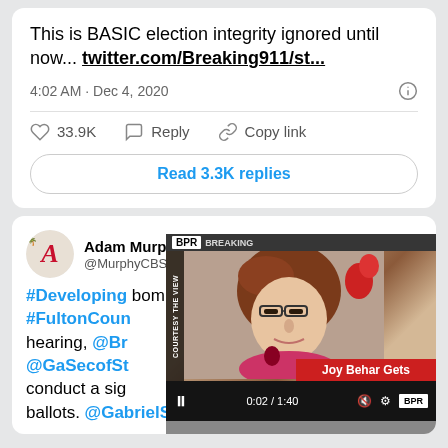This is BASIC election integrity ignored until now... twitter.com/Breaking911/st...
4:02 AM · Dec 4, 2020
33.9K   Reply   Copy link
Read 3.3K replies
Adam Murphy @MurphyCBS46 · Follow
[Figure (screenshot): Video thumbnail showing a woman (Joy Behar) with a red lower-third caption bar reading 'Joy Behar Gets', BPR logo visible, video controls showing 0:02/1:40, 6 seconds overlay badge]
#Developing bombshell alle #FultonCoun hearing, @Br @GaSecofSt conduct a sig ballots. @GabrielSterling @cbs46